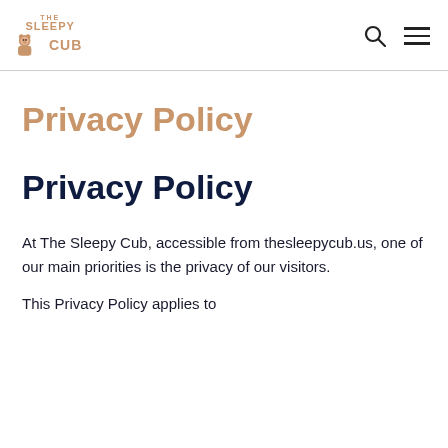THE SLEEPY CUB logo with search and menu icons
Privacy Policy
Privacy Policy
At The Sleepy Cub, accessible from thesleepycub.us, one of our main priorities is the privacy of our visitors.
This Privacy Policy applies to